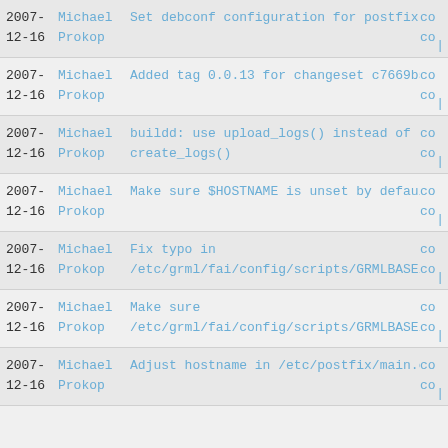2007-
12-16  Michael Prokop  Set debconf configuration for postfix  co
|
2007-
12-16  Michael Prokop  Added tag 0.0.13 for changeset c7669b579e28  co
|
2007-
12-16  Michael Prokop  buildd: use upload_logs() instead of create_logs()  co
|
2007-
12-16  Michael Prokop  Make sure $HOSTNAME is unset by default  co
|
2007-
12-16  Michael Prokop  Fix typo in /etc/grml/fai/config/scripts/GRMLBASE/32...  co
|
2007-
12-16  Michael Prokop  Make sure /etc/grml/fai/config/scripts/GRMLBASE/40...  co
|
2007-
12-16  Michael Prokop  Adjust hostname in /etc/postfix/main.cf  co
|